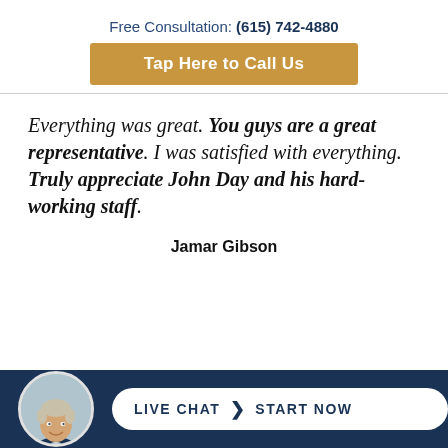Free Consultation: (615) 742-4880
Tap Here to Call Us
Everything was great. You guys are a great representative. I was satisfied with everything. Truly appreciate John Day and his hard-working staff.
Jamar Gibson
[Figure (other): Footer bar with circular headshot of man in suit, and Live Chat Start Now button]
LIVE CHAT  START NOW